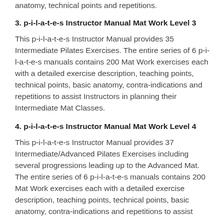anatomy, technical points and repetitions.
3. p-i-l-a-t-e-s Instructor Manual Mat Work Level 3
This p-i-l-a-t-e-s Instructor Manual provides 35 Intermediate Pilates Exercises. The entire series of 6 p-i-l-a-t-e-s manuals contains 200 Mat Work exercises each with a detailed exercise description, teaching points, technical points, basic anatomy, contra-indications and repetitions to assist Instructors in planning their Intermediate Mat Classes.
4. p-i-l-a-t-e-s Instructor Manual Mat Work Level 4
This p-i-l-a-t-e-s Instructor Manual provides 37 Intermediate/Advanced Pilates Exercises including several progressions leading up to the Advanced Mat. The entire series of 6 p-i-l-a-t-e-s manuals contains 200 Mat Work exercises each with a detailed exercise description, teaching points, technical points, basic anatomy, contra-indications and repetitions to assist